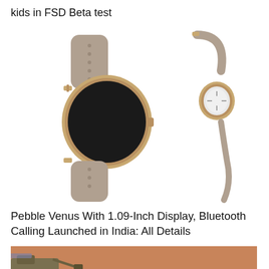kids in FSD Beta test
[Figure (photo): Two views of the Pebble Venus smartwatch with taupe/sand-colored silicone band and rose gold case. Left view shows the front face with dark circular display. Right view shows a side/angled perspective showing the slim profile.]
Pebble Venus With 1.09-Inch Display, Bluetooth Calling Launched in India: All Details
[Figure (photo): Partial image of a Mars rover on the Martian surface, showing rocky reddish-brown terrain.]